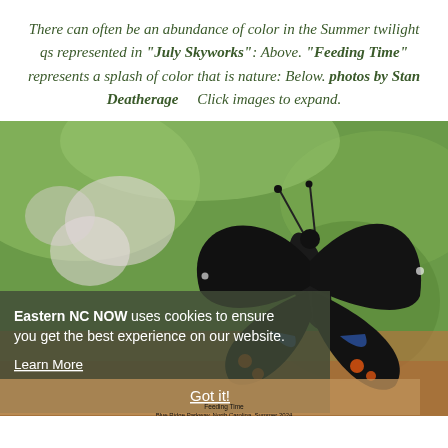There can often be an abundance of color in the Summer twilight qs represented in "July Skyworks": Above. "Feeding Time" represents a splash of color that is nature: Below. photos by Stan Deatherage    Click images to expand.
[Figure (photo): Close-up macro photo of a black swallowtail butterfly with orange and blue spots feeding on white and pink flowers, with a blurred green background. A cookie consent banner overlays the lower portion reading: 'Eastern NC NOW uses cookies to ensure you get the best experience on our website. Learn More' with a 'Got it!' button bar below.]
Feeding Time
Blue Ridge Parkway, North Carolina, Summer 2024